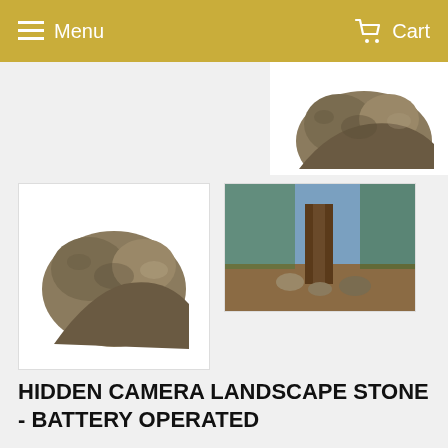Menu   Cart
[Figure (photo): Partial view of a rock-shaped hidden camera product, top portion visible]
[Figure (photo): Thumbnail: rock-shaped hidden camera on white background]
[Figure (photo): Thumbnail: outdoor scene showing the rock camera placed near a tree base]
HIDDEN CAMERA LANDSCAPE STONE - BATTERY OPERATED
SC7000HD
Description   Specs   Set-up Instructions
Here's why Xtreme Life™ Is the Best Battery Operated Hidden Camera